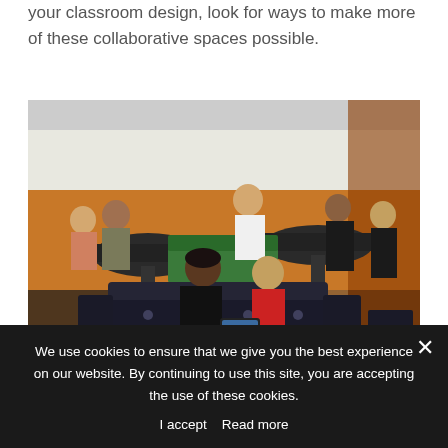your classroom design, look for ways to make more of these collaborative spaces possible.
[Figure (photo): A classroom with students working collaboratively at tables with orange flooring and dark checkerboard carpet pattern. In the foreground, an adult and a child in a red hoodie sit on a dark patterned sofa looking at a tablet. Other students are visible in the background working at group tables.]
Collaborative spaces can be made by pushing desks or chairs together and clearing off counters or bookshelves.
We use cookies to ensure that we give you the best experience on our website. By continuing to use this site, you are accepting the use of these cookies.
I accept   Read more